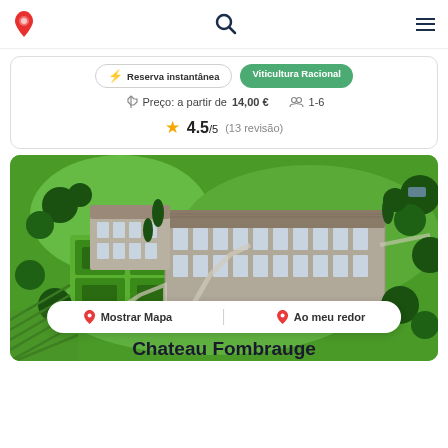Wine app header with logo, search icon, and menu icon
⚡ Reserva instantânea   Viticultura Racional
Preço: a partir de 14,00 €   1-6
★ 4.5/5  (13 revisão)
[Figure (photo): Aerial photograph of Chateau Fombrauge estate showing large stone château building with formal French gardens, surrounded by green trees and vineyards]
📍 Mostrar Mapa   📍 Ao meu redor
Chateau Fombrauge